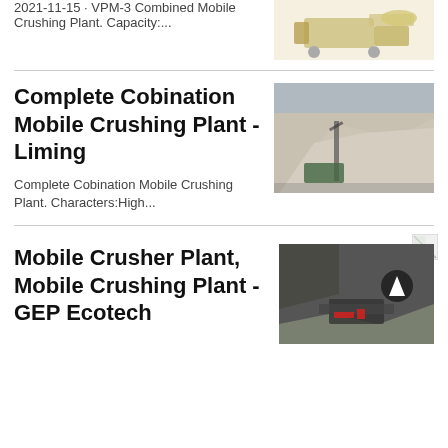2021-11-15 · VPM-3 Combined Mobile Crushing Plant. Capacity:...
[Figure (photo): Industrial crushing machine, golden/yellow color, top portion visible]
Complete Cobination Mobile Crushing Plant - Liming
[Figure (photo): Aerial view of a quarry/mining site with large piles of crushed stone and conveyor equipment]
Complete Cobination Mobile Crushing Plant. Characters:High...
Mobile Crusher Plant, Mobile Crushing Plant - GEP Ecotech
[Figure (photo): Mining/crushing operation in a rocky quarry with equipment visible and a scroll-up button overlay]
[Figure (photo): Small broken image icon placeholder]